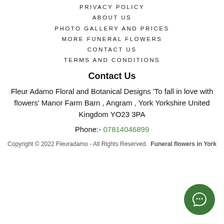PRIVACY POLICY
ABOUT US
PHOTO GALLERY AND PRICES
MORE FUNERAL FLOWERS
CONTACT US
TERMS AND CONDITIONS
Contact Us
Fleur Adamo Floral and Botanical Designs 'To fall in love with flowers' Manor Farm Barn , Angram , York Yorkshire United Kingdom YO23 3PA
Phone:- 07814046899
Copyright © 2022 Fleuradamo - All Rights Reserved. Funeral flowers in York